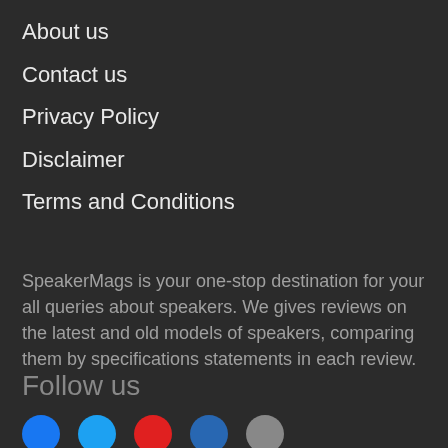About us
Contact us
Privacy Policy
Disclaimer
Terms and Conditions
SpeakerMags is your one-stop destination for your all queries about speakers. We gives reviews on the latest and old models of speakers, comparing them by specifications statements in each review.
Follow us
[Figure (other): Social media icon circles: Facebook (blue), Twitter (light blue), YouTube (red), LinkedIn (dark blue), and one more (grey)]